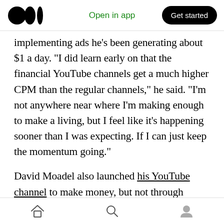Medium logo | Open in app | Get started
implementing ads he’s been generating about $1 a day. “I did learn early on that the financial YouTube channels get a much higher CPM than the regular channels,” he said. “I’m not anywhere near where I’m making enough to make a living, but I feel like it’s happening sooner than I was expecting. If I can just keep the momentum going.”
David Moadel also launched his YouTube channel to make money, but not through advertising. Like Rodriguez, Moadel had been a teacher before he
Home | Search | Profile